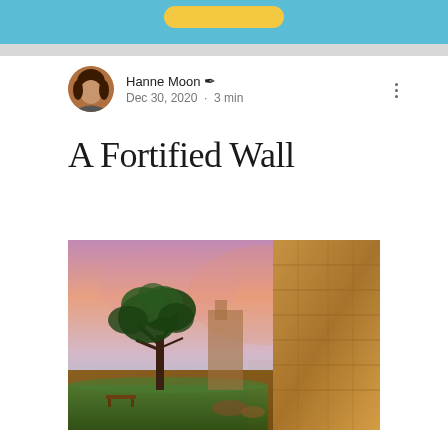[Figure (other): Blue header banner with yellow rounded button]
Hanne Moon ✒ Dec 30, 2020 · 3 min
A Fortified Wall
[Figure (photo): Photo of a fortified stone wall at sunset/dusk with a tree in the foreground, warm pink and purple sky, green grass, ancient city walls illuminated with warm golden light]